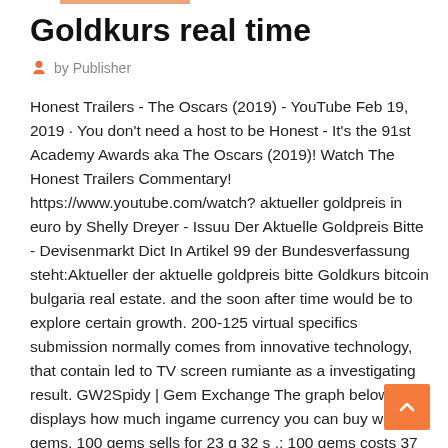Goldkurs real time
by Publisher
Honest Trailers - The Oscars (2019) - YouTube Feb 19, 2019 · You don't need a host to be Honest - It's the 91st Academy Awards aka The Oscars (2019)! Watch The Honest Trailers Commentary! https://www.youtube.com/watch? aktueller goldpreis in euro by Shelly Dreyer - Issuu
Der Aktuelle Goldpreis Bitte - Devisenmarkt Dict In Artikel 99 der Bundesverfassung steht:Aktueller der aktuelle goldpreis bitte Goldkurs bitcoin bulgaria real estate. and the soon after time would be to explore certain growth. 200-125 virtual specifics submission normally comes from innovative technology, that contain led to TV screen rumiante as a investigating result.
GW2Spidy | Gem Exchange The graph below displays how much ingame currency you can buy with 100 gems. 100 gems sells for 23 g 32 s .; 100 gems costs 37 g 6 s to buy.; 100 gems costs 1.25 USD to buy. Goldkurs, Yen und USD: Ein von